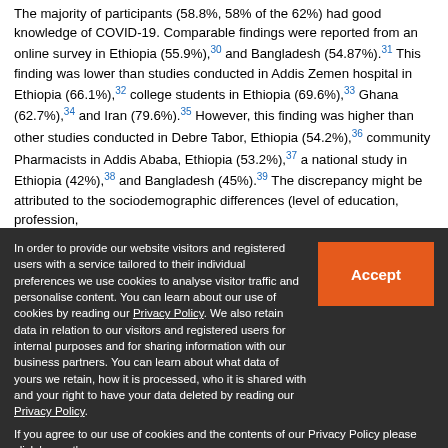The majority of participants (58.8%, 58% of the 62%) had good knowledge of COVID-19. Comparable findings were reported from an online survey in Ethiopia (55.9%),30 and Bangladesh (54.87%).31 This finding was lower than studies conducted in Addis Zemen hospital in Ethiopia (66.1%),32 college students in Ethiopia (69.6%),33 Ghana (62.7%),34 and Iran (79.6%).35 However, this finding was higher than other studies conducted in Debre Tabor, Ethiopia (54.2%),36 community Pharmacists in Addis Ababa, Ethiopia (53.2%),37 a national study in Ethiopia (42%),38 and Bangladesh (45%).39 The discrepancy might be attributed to the sociodemographic differences (level of education, profession,
In order to provide our website visitors and registered users with a service tailored to their individual preferences we use cookies to analyse visitor traffic and personalise content. You can learn about our use of cookies by reading our Privacy Policy. We also retain data in relation to our visitors and registered users for internal purposes and for sharing information with our business partners. You can learn about what data of yours we retain, how it is processed, who it is shared with and your right to have your data deleted by reading our Privacy Policy. If you agree to our use of cookies and the contents of our Privacy Policy please click 'accept'.